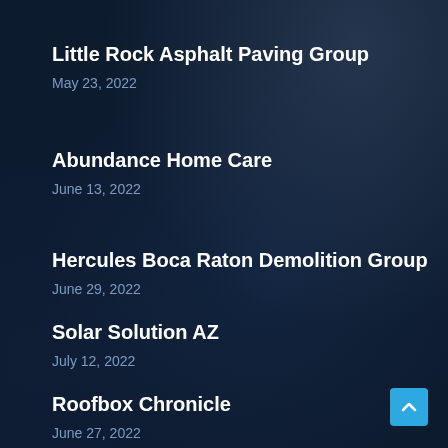Little Rock Asphalt Paving Group
May 23, 2022
Abundance Home Care
June 13, 2022
Hercules Boca Raton Demolition Group
June 29, 2022
Solar Solution AZ
July 12, 2022
Roofbox Chronicle
June 27, 2022